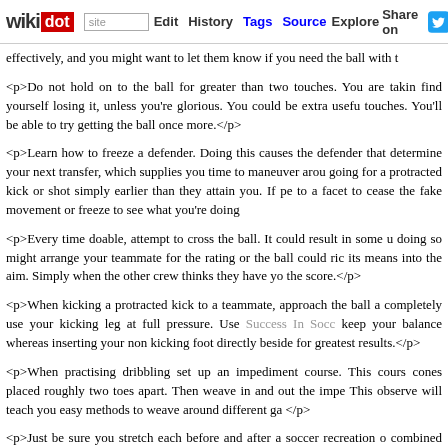wikidot | site | Edit | History | Tags | Source | Explore | Share on [Twitter]
effectively, and you might want to let them know if you need the ball with t
<p>Do not hold on to the ball for greater than two touches. You are takin find yourself losing it, unless you're glorious. You could be extra usefu touches. You'll be able to try getting the ball once more.</p>
<p>Learn how to freeze a defender. Doing this causes the defender that determine your next transfer, which supplies you time to maneuver arou going for a protracted kick or shot simply earlier than they attain you. If pe to a facet to cease the fake movement or freeze to see what you're doing</p>
<p>Every time doable, attempt to cross the ball. It could result in some u doing so might arrange your teammate for the rating or the ball could ric its means into the aim. Simply when the other crew thinks they have yo the score.</p>
<p>When kicking a protracted kick to a teammate, approach the ball a completely use your kicking leg at full pressure. Use Success In Socc keep your balance whereas inserting your non kicking foot directly beside for greatest results.</p>
<p>When practising dribbling set up an impediment course. This cours cones placed roughly two toes apart. Then weave in and out the impe This observe will teach you easy methods to weave around different ga </p>
<p>Just be sure you stretch each before and after a soccer recreation o combined with kicking the ball, can put a variety of stress in your muscle from accidents on the sector if you are enjoying and prevent you from bei